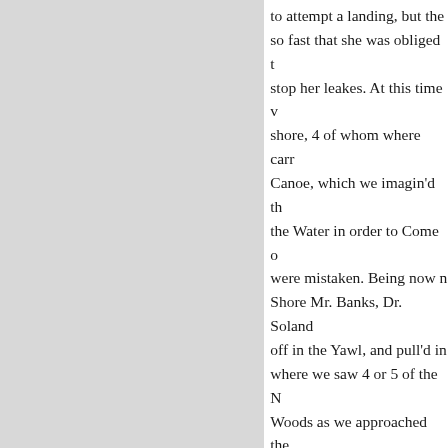to attempt a landing, but the so fast that she was obliged t stop her leakes. At this time v shore, 4 of whom where carr Canoe, which we imagin'd th the Water in order to Come o were mistaken. Being now n Shore Mr. Banks, Dr. Soland off in the Yawl, and pull'd in where we saw 4 or 5 of the N Woods as we approached the disappointed us in the expect near View of them, if not to s disappointment was heighten we no where could effect a la great Surf which beat everyw saw haul'd up upon the beach which to us appeared not mu of New Zeland. In the wood Palm kind, and no under woo were able to observe from th return'd to the Ship about 5 i place where Cook attempted place where there is now com A large coal port, Wollongon